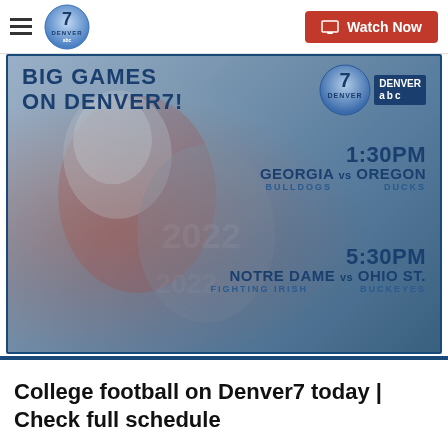Denver7 ABC — Watch Now
[Figure (infographic): Big Games on Denver7 promotional graphic showing college football matchups: Georgia Bulldogs vs Oregon Ducks at 1:30PM and Notre Dame Fighting Irish vs Ohio St. Buckeyes at 5:30PM, with football player action photo background and Denver7 ABC logo]
College football on Denver7 today | Check full schedule